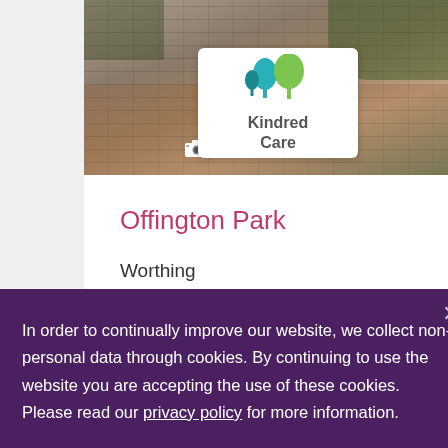[Figure (photo): Photo of a brick building/garden wall exterior — top section of a care home listing card with camera icon and count badge showing '3']
[Figure (logo): Kindred Care logo — two stylized trees (teal and green) with text 'Kindred Care' on a white box]
Offington Park
Worthing
Offington Park is in an affluent and quiet
In order to continually improve our website, we collect non-personal data through cookies. By continuing to use the website you are accepting the use of these cookies. Please read our privacy policy for more information.